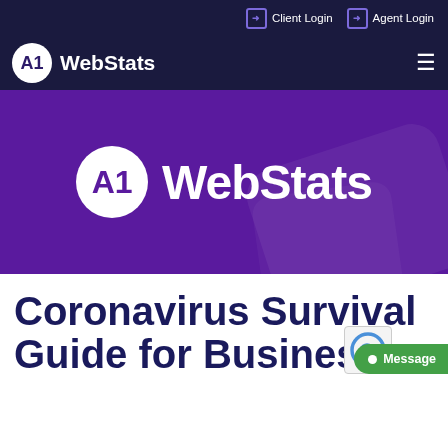➔ Client Login  ➔ Agent Login
[Figure (logo): A1 WebStats logo in top navigation bar on dark navy background with hamburger menu]
[Figure (logo): A1 WebStats hero banner with large logo on purple background with geometric shapes]
Coronavirus Survival Guide for Businesses